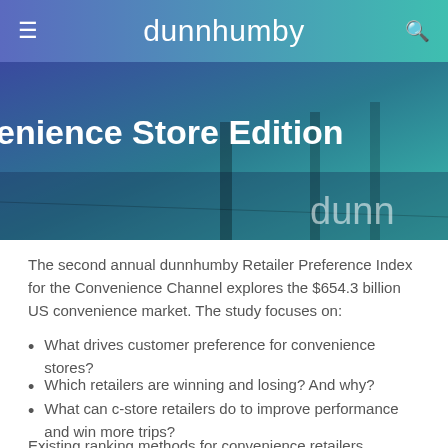dunnhumby
[Figure (photo): Hero banner image of a convenience store exterior/parking area with blue-teal gradient overlay, showing text 'enience Store Edition' and 'dunn' watermark]
The second annual dunnhumby Retailer Preference Index for the Convenience Channel explores the $654.3 billion US convenience market. The study focuses on:
What drives customer preference for convenience stores?
Which retailers are winning and losing? And why?
What can c-store retailers do to improve performance and win more trips?
Existing ranking methods for convenience retailers attribute the...